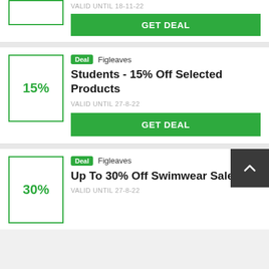VALID UNTIL 18-11-22
GET DEAL
Deal  Figleaves
Students - 15% Off Selected Products
VALID UNTIL 27-8-22
GET DEAL
Deal  Figleaves
Up To 30% Off Swimwear Sale
VALID UNTIL 27-8-22